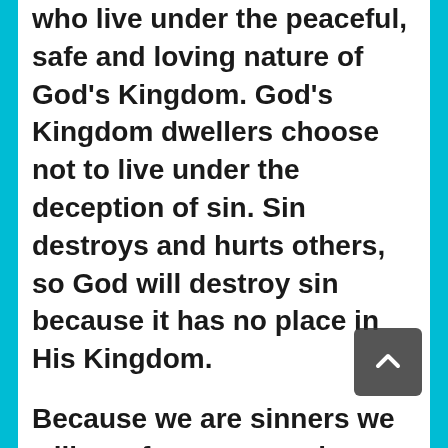who live under the peaceful, safe and loving nature of God's Kingdom. God's Kingdom dwellers choose not to live under the deception of sin. Sin destroys and hurts others, so God will destroy sin because it has no place in His Kingdom.
Because we are sinners we will pay for our own sins after the Judgment, and will be destroyed along with sin in the Second Death, unless we trust in the finished substitutionary atonement work of Jesus.
Jesus died on the cross of Calvary for the sins of the world and He offers His sinless life as a substitution for our. Everyone is credited with the free gift of salvation, all we need to do is to freely